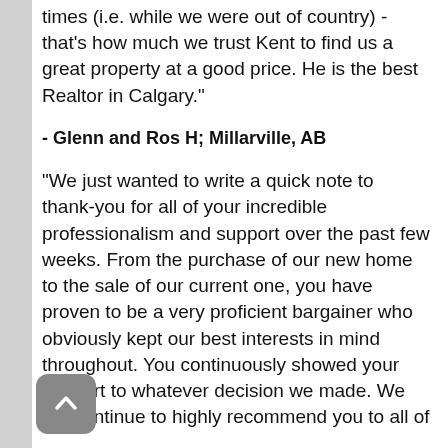times (i.e. while we were out of country) - that's how much we trust Kent to find us a great property at a good price. He is the best Realtor in Calgary."
- Glenn and Ros H; Millarville, AB
"We just wanted to write a quick note to thank-you for all of your incredible professionalism and support over the past few weeks. From the purchase of our new home to the sale of our current one, you have proven to be a very proficient bargainer who obviously kept our best interests in mind throughout. You continuously showed your support to whatever decision we made. We will continue to highly recommend you to all of